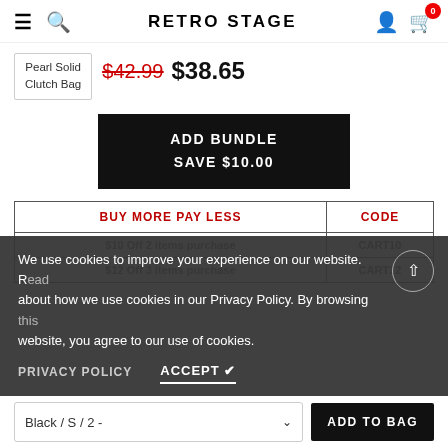RETRO STAGE
Pearl Solid Clutch Bag
$42.99 $38.65
ADD BUNDLE SAVE $10.00
| BUY MORE PAY LESS | CODE |
| --- | --- |
| $10 Off 2 items purchase | CART10 |
| $12 Off 3 items purchase | CART12 |
We use cookies to improve your experience on our website. Read about how we use cookies in our Privacy Policy. By browsing this website, you agree to our use of cookies.
PRIVACY POLICY   ACCEPT ✔
Black / S / 2 -   ADD TO BAG